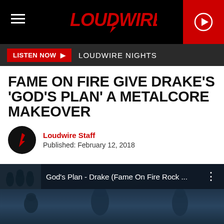[Figure (logo): Loudwire logo in red with lightning bolt, on black navigation bar with hamburger menu on left and red play button on right]
LISTEN NOW ▶  LOUDWIRE NIGHTS
FAME ON FIRE GIVE DRAKE'S 'GOD'S PLAN' A METALCORE MAKEOVER
Loudwire Staff
Published: February 12, 2018
[Figure (screenshot): YouTube embed thumbnail showing God's Plan - Drake (Fame On Fire Rock ... with band photo thumbnail on left and performers in background]